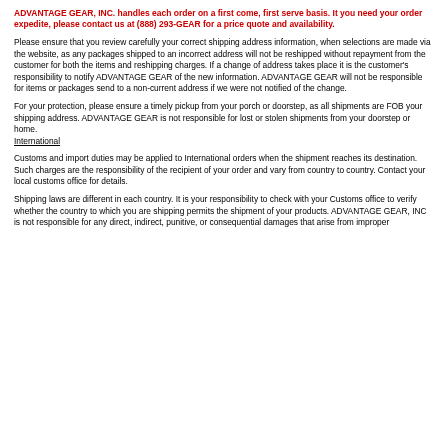ADVANTAGE GEAR, INC. handles each order on a first come, first serve basis. It you need your order expedite, please contact us at (888) 293-GEAR for a price quote and availability.
Please ensure that you review carefully your correct shipping address information, when selections are made via the website, as any packages shipped to an incorrect address will not be reshipped without repayment from the customer for both the items and reshipping charges. If a change of address takes place it is the customer's responsibility to notify ADVANTAGE GEAR of the new information. ADVANTAGE GEAR will not be responsible for items or packages send to a non-current address if we were not notified of the change.
For your protection, please ensure a timely pickup from your porch or doorstep, as all shipments are FOB your shipping address. ADVANTAGE GEAR is not responsible for lost or stolen shipments from your doorstep or home.
International
Customs and import duties may be applied to International orders when the shipment reaches its destination. Such charges are the responsibility of the recipient of your order and vary from country to country. Contact your local customs office for details.
Shipping laws are different in each country. It is your responsibility to check with your Customs office to verify whether the country to which you are shipping permits the shipment of your products. ADVANTAGE GEAR, INC is not responsible for any direct, indirect, punitive, or consequential damages that arise from improper